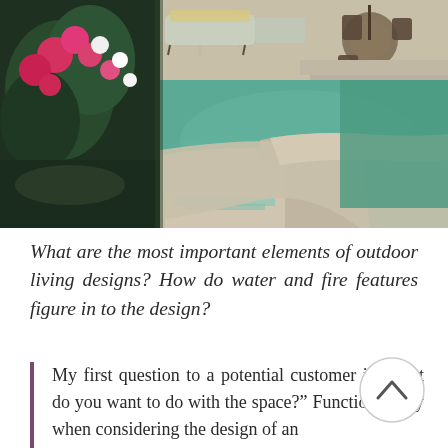[Figure (photo): Outdoor pool with stone/concrete deck, water spillover feature, flowering plants on the left, lounge chairs and patio furniture visible in background]
What are the most important elements of outdoor living designs? How do water and fire features figure in to the design?
My first question to a potential customer is “what do you want to do with the space?” Function is key when considering the design of an